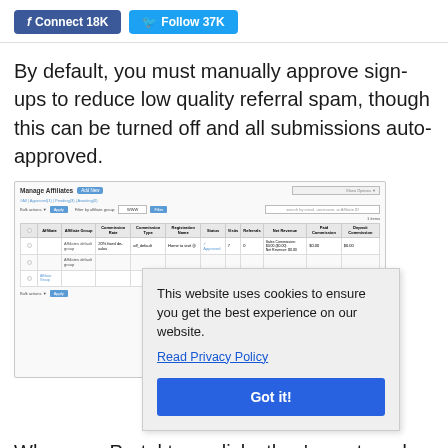[Figure (screenshot): Social media buttons: Facebook Connect 18K (blue) and Twitter Follow 37K (light blue)]
By default, you must manually approve sign-ups to reduce low quality referral spam, though this can be turned off and all submissions auto-approved.
[Figure (screenshot): Screenshot of a 'Manage Affiliates' admin panel showing a table with columns: Affiliate, Affiliate Group, Commission Rate, Commission Type, Registration Name, Status, Visits, Referrals, Net Revenue, Paid Commission, Deposit Commission. One row shows affiliate default group with 20% commission, aff_default type, Home to visit status as Approved, with Sales Commission and Net Revenue values of $0.00. A cookie consent overlay appears in the lower right with text: 'This website uses cookies to ensure you get the best experience on our website. Read Privacy Policy' and a 'Got it!' button.]
When use Portal to m clicks they've got, and also monitor payments you've